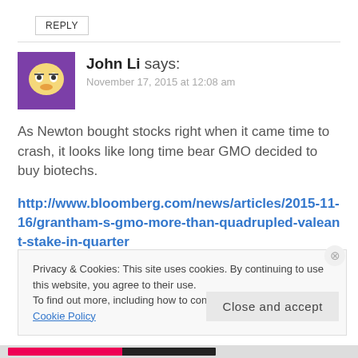REPLY
John Li says:
November 17, 2015 at 12:08 am
As Newton bought stocks right when it came time to crash, it looks like long time bear GMO decided to buy biotechs.
http://www.bloomberg.com/news/articles/2015-11-16/grantham-s-gmo-more-than-quadrupled-valeant-stake-in-quarter
Privacy & Cookies: This site uses cookies. By continuing to use this website, you agree to their use.
To find out more, including how to control cookies, see here: Cookie Policy
Close and accept